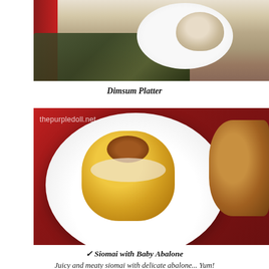[Figure (photo): Close-up photo of a Dimsum Platter showing seaweed-wrapped items and a dumpling in a white spoon/dish on a white plate, with red decorative element]
Dimsum Platter
[Figure (photo): Close-up photo of Siomai with Baby Abalone — a yellow wonton dumpling topped with a dark abalone slice on a white round plate, with red fabric background and watermark 'thepurpledoll.net']
✓ Siomai with Baby Abalone
Juicy and meaty siomai with delicate abalone... Yum!